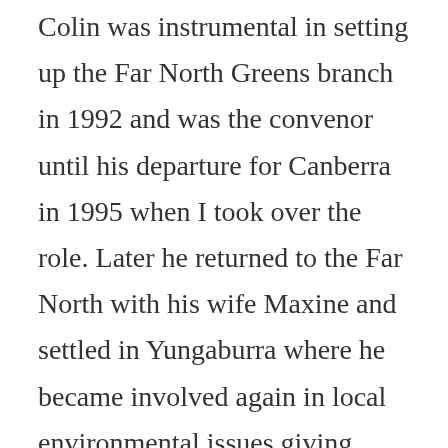Colin was instrumental in setting up the Far North Greens branch in 1992 and was the convenor until his departure for Canberra in 1995 when I took over the role. Later he returned to the Far North with his wife Maxine and settled in Yungaburra where he became involved again in local environmental issues giving freely of his time and wide-ranging knowledge for the benefit of others.
Colin was a writer, campaigner, teacher and research academic with a special interest in climate change and the